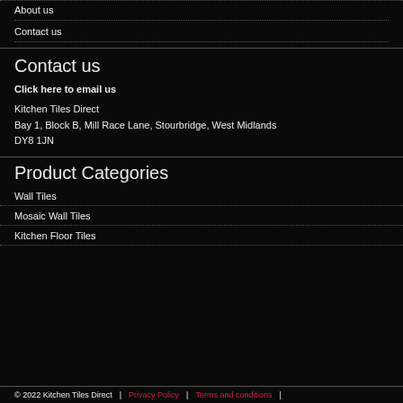About us
Contact us
Contact us
Click here to email us
Kitchen Tiles Direct
Bay 1, Block B, Mill Race Lane, Stourbridge, West Midlands
DY8 1JN
Product Categories
Wall Tiles
Mosaic Wall Tiles
Kitchen Floor Tiles
© 2022 Kitchen Tiles Direct  |  Privacy Policy  |  Terms and conditions  |